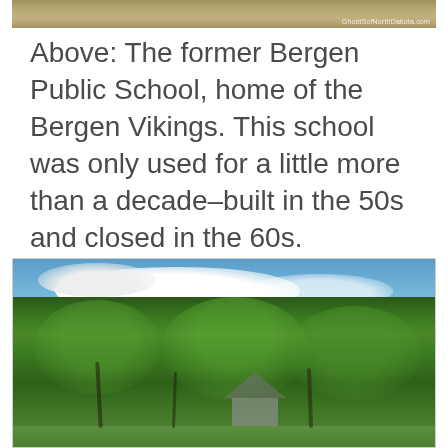[Figure (photo): Top partial strip of a photo showing a brownish/tan rocky or earthy landscape with a small watermark reading 'GhostSofNorthDakota.com' in the lower right corner.]
Above: The former Bergen Public School, home of the Bergen Vikings. This school was only used for a little more than a decade–built in the 50s and closed in the 60s.
[Figure (photo): A photograph of a small weathered wooden barn or building nearly hidden among large leafy green trees under a blue sky with white clouds. Green grass is visible in the foreground.]